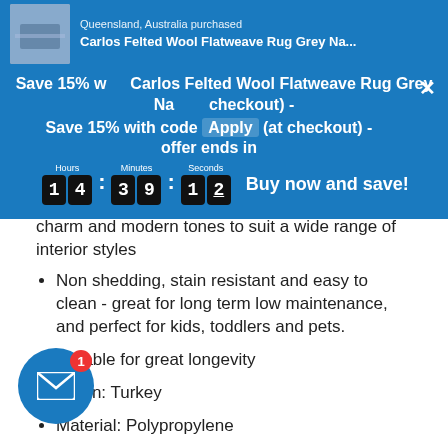Queensland, Australia purchased Carlos Felted Wool Flatweave Rug Grey Natural
Save 15% with code Apply at checkout - offer ends in
Hours 14 : Minutes 39 : Seconds 12 — Buy now and save!
charm and modern tones to suit a wide range of interior styles
Non shedding, stain resistant and easy to clean - great for long term low maintenance, and perfect for kids, toddlers and pets.
Durable for great longevity
Origin: Turkey
Material: Polypropylene
Pile Height: 10mm
Style: Transitional
Sizes (cm): 220 x 160, 200 x 200, 220 x 240, 400 x ...